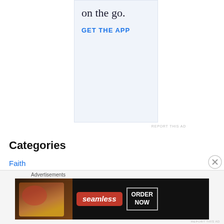[Figure (other): App advertisement banner with light blue background, text 'on the go.' and 'GET THE APP' in blue]
REPORT THIS AD
Categories
Faith
Family
Advertisements
[Figure (other): Seamless food delivery advertisement banner with pizza image, Seamless logo, and ORDER NOW button]